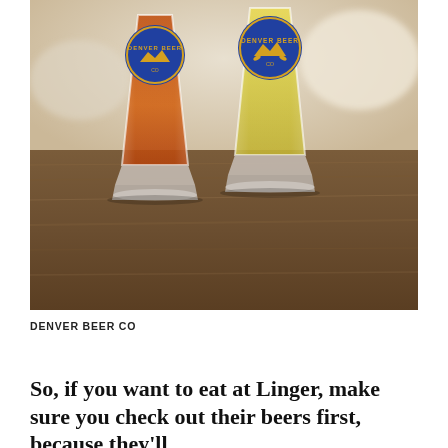[Figure (photo): Two branded beer glasses from Denver Beer Co sitting on a wooden table. The left glass contains an amber/red beer and the right glass contains a pale golden/yellow beer. Both glasses have the Denver Beer Co logo printed on them in blue and yellow. Background is blurred outdoor setting.]
DENVER BEER CO
So, if you want to eat at Linger, make sure you check out their beers first, because they'll